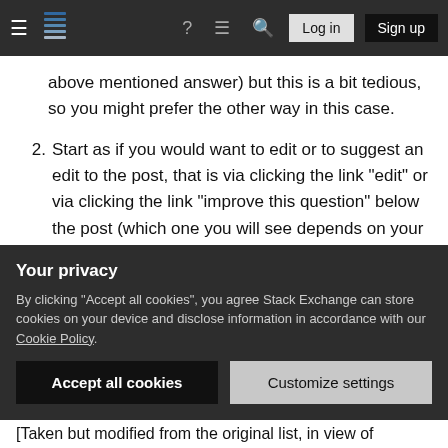Stack Exchange navigation bar with hamburger menu, logo, help, chat, search, Log in, Sign up
above mentioned answer) but this is a bit tedious, so you might prefer the other way in this case.
2. Start as if you would want to edit or to suggest an edit to the post, that is via clicking the link "edit" or via clicking the link "improve this question" below the post (which one you will see depends on your account or you being logged in but for the purpose at hand it is all the same). Then you are shown exactly what the person typed. If you choose this option, please
Your privacy
By clicking "Accept all cookies", you agree Stack Exchange can store cookies on your device and disclose information in accordance with our Cookie Policy.
[Taken but modified from the original list, in view of